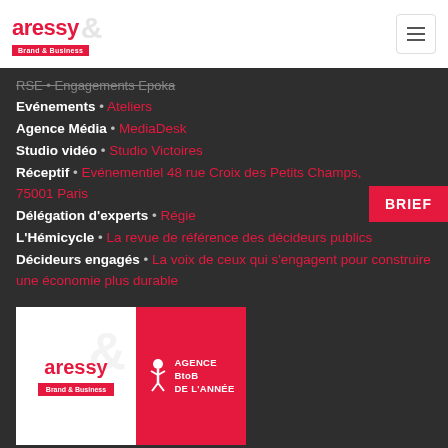aressy Brand & Business
RSE • Engagements Epoka
Evénements • Ateliers
Agence Média • MediaDesk
Studio vidéo • Studio Victoires
Réceptif • Evénementiel 48 rue Croix des Petits Champs, 75001 Paris
Délégation d'experts • Régie
L'Hémicycle • La revue de référence des décideurs publics
Décideurs engagés • La voix de ceux qui s'engagent pour construire une économie plus durable
[Figure (logo): Aressy Brand & Business logo with white background on left and red background with Agence BtoB DE L'ANNÉE award on right]